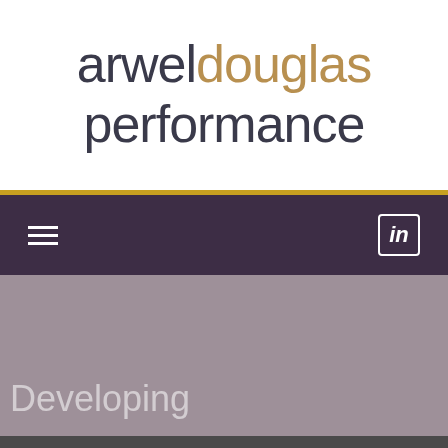arweldouglas performance
[Figure (logo): Navigation bar with hamburger menu icon on left and LinkedIn icon on right, on dark purple background]
Developing
This website uses cookies to ensure you get the best experience - view our cookie policy
Okay, thanks